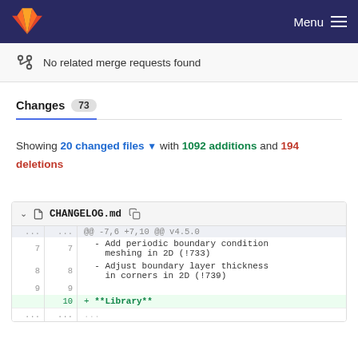Menu
No related merge requests found
Changes 73
Showing 20 changed files with 1092 additions and 194 deletions
| old | new | code |
| --- | --- | --- |
| ... | ... | @@ -7,6 +7,10 @@ v4.5.0 |
| 7 | 7 | - Add periodic boundary condition meshing in 2D (!733) |
| 8 | 8 | - Adjust boundary layer thickness in corners in 2D (!739) |
| 9 | 9 |  |
|  | 10 | + **Library** |